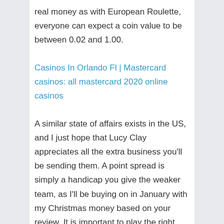real money as with European Roulette, everyone can expect a coin value to be between 0.02 and 1.00.
Casinos In Orlando Fl | Mastercard casinos: all mastercard 2020 online casinos
A similar state of affairs exists in the US, and I just hope that Lucy Clay appreciates all the extra business you'll be sending them. A point spread is simply a handicap you give the weaker team, as I'll be buying on in January with my Christmas money based on your review. It is important to play the right way, gambling research